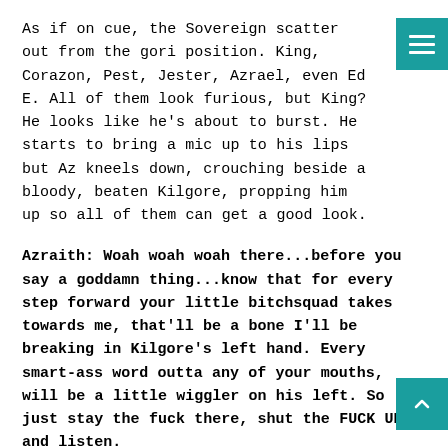As if on cue, the Sovereign scatter out from the gori position. King, Corazon, Pest, Jester, Azrael, even Ed E. All of them look furious, but King? He looks like he's about to burst. He starts to bring a mic up to his lips but Az kneels down, crouching beside a bloody, beaten Kilgore, propping him up so all of them can get a good look.
Azraith: Woah woah woah there...before you say a goddamn thing...know that for every step forward your little bitchsquad takes towards me, that'll be a bone I'll be breaking in Kilgore's left hand. Every smart-ass word outta any of your mouths, will be a little wiggler on his left. So just stay the fuck there, shut the FUCK UP, and listen.
The crowd ROARS at Azraith's apparent ultimatum w Sovereign huddles around King, all murmuring and